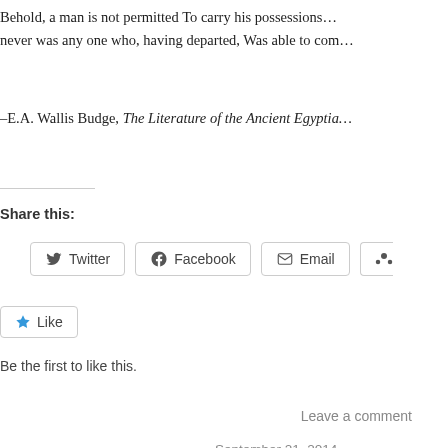Behold, a man is not permitted To carry his possessions… never was any one who, having departed, Was able to com…
–E.A. Wallis Budge, The Literature of the Ancient Egyptia…
Share this:
[Figure (other): Social share buttons: Twitter, Facebook, Email, and one partially visible button]
Like
Be the first to like this.
Leave a comment
September 21, 2014
The Moral Precepts of Pt…